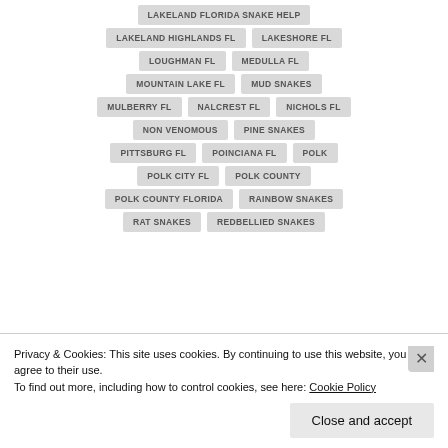LAKELAND FLORIDA SNAKE HELP
LAKELAND HIGHLANDS FL
LAKESHORE FL
LOUGHMAN FL
MEDULLA FL
MOUNTAIN LAKE FL
MUD SNAKES
MULBERRY FL
NALCREST FL
NICHOLS FL
NON VENOMOUS
PINE SNAKES
PITTSBURG FL
POINCIANA FL
POLK
POLK CITY FL
POLK COUNTY
POLK COUNTY FLORIDA
RAINBOW SNAKES
RAT SNAKES
REDBELLIED SNAKES
Privacy & Cookies: This site uses cookies. By continuing to use this website, you agree to their use.
To find out more, including how to control cookies, see here: Cookie Policy
Close and accept